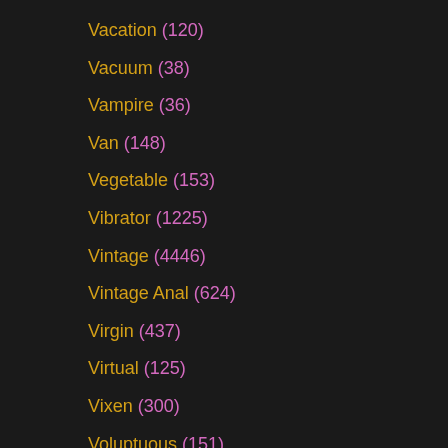Vacation (120)
Vacuum (38)
Vampire (36)
Van (148)
Vegetable (153)
Vibrator (1225)
Vintage (4446)
Vintage Anal (624)
Virgin (437)
Virtual (125)
Vixen (300)
Voluptuous (151)
Voyeur (14860)
WTF (10)
Waitress (62)
Washing (768)